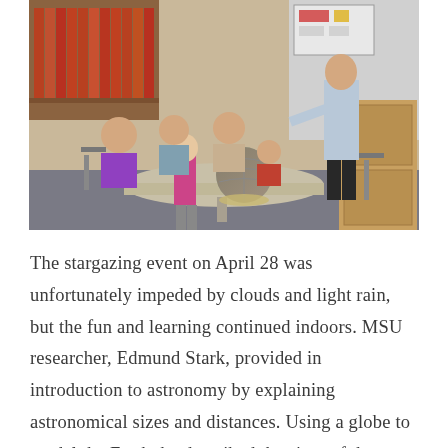[Figure (photo): A classroom or library setting with bookshelves in the background. A man in a light blue shirt (MSU researcher Edmund Stark) stands at a round table holding a globe, demonstrating to a group of children and adults seated around the table. A young girl in a pink and gray outfit stands near the table interacting with the demonstration.]
The stargazing event on April 28 was unfortunately impeded by clouds and light rain, but the fun and learning continued indoors. MSU researcher, Edmund Stark, provided in introduction to astronomy by explaining astronomical sizes and distances. Using a globe to model the Earth, he described the sizes of the moon, other planets, other moons, and the sun, relative to the globe, the...